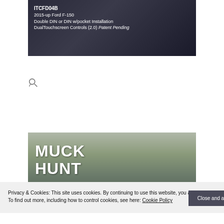[Figure (photo): Product photo of a car dashboard/stereo installation kit with text overlay: ITCFD04B, 2015-up Ford F-150, Double DIN or DIN w/pocket Installation, DualTouchscreen Controls (2.0) Patent Pending]
[Figure (other): Small search/undo icon graphic]
[Figure (photo): Outdoor hunting photo of two people in winter gear with text overlay: MUCK HUNT]
Privacy & Cookies: This site uses cookies. By continuing to use this website, you agree to their use. To find out more, including how to control cookies, see here: Cookie Policy
Close and accept